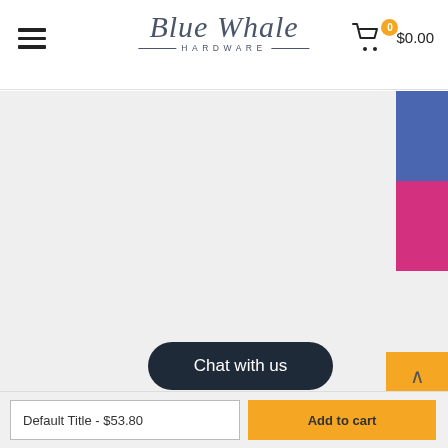[Figure (logo): Blue Whale Hardware logo with script text and decorative lines]
[Figure (other): Gray product image area (empty/loading)]
[Figure (other): Blue color swatch for product variant selection]
[Figure (other): Pink/magenta color swatch for product variant selection]
[Figure (other): Chat with us button overlay]
Default Title - $53.80
Add to cart